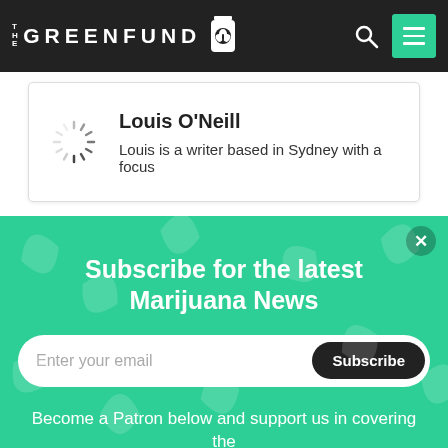[Figure (logo): The Green Fund logo — white text on dark background with cannabis leaf icon in a bottle/jar]
Louis O'Neill
Louis is a writer based in Sydney with a focus
Subscribe for the latest Marijuana News
Enter your email
Subscribe
Become a Patron below and support us in covering the latest marijuana news!
Become a patron